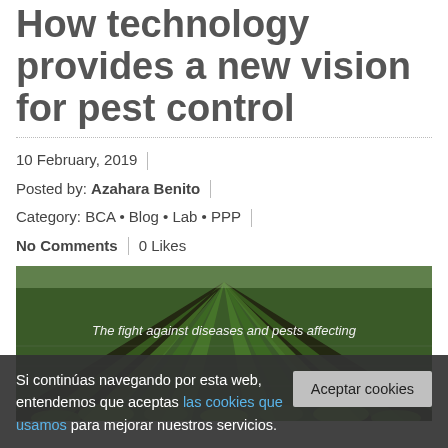How technology provides a new vision for pest control
10 February, 2019
Posted by: Azahara Benito
Category: BCA • Blog • Lab • PPP
No Comments   0 Likes
[Figure (photo): Rows of green plants in a farm field with drip irrigation lines, aerial perspective.]
The fight against diseases and pests affecting
Si continúas navegando por esta web, entendemos que aceptas las cookies que usamos para mejorar nuestros servicios.
Aceptar cookies